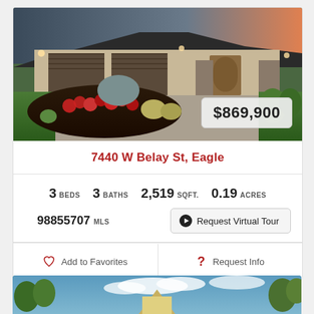[Figure (photo): Exterior photo of a single-story home with two-car garage, brick and stucco facade, lush landscaping with red flowers and ornamental grasses, illuminated at dusk]
$869,900
7440 W Belay St, Eagle
3 BEDS  3 BATHS  2,519 SQFT.  0.19 ACRES
98855707 MLS
Request Virtual Tour
Add to Favorites
Request Info
[Figure (photo): Partial exterior photo of another home showing roofline against blue sky with clouds and trees]